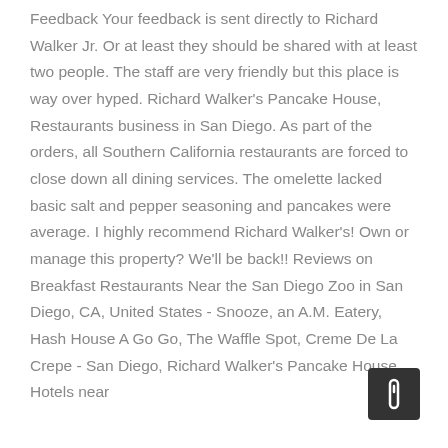Feedback Your feedback is sent directly to Richard Walker Jr. Or at least they should be shared with at least two people. The staff are very friendly but this place is way over hyped. Richard Walker's Pancake House, Restaurants business in San Diego. As part of the orders, all Southern California restaurants are forced to close down all dining services. The omelette lacked basic salt and pepper seasoning and pancakes were average. I highly recommend Richard Walker's! Own or manage this property? We'll be back!! Reviews on Breakfast Restaurants Near the San Diego Zoo in San Diego, CA, United States - Snooze, an A.M. Eatery, Hash House A Go Go, The Waffle Spot, Creme De La Crepe - San Diego, Richard Walker's Pancake House Hotels near
[Figure (other): A small dark square icon button with a scroll/pause symbol, positioned in the lower right area of the page.]